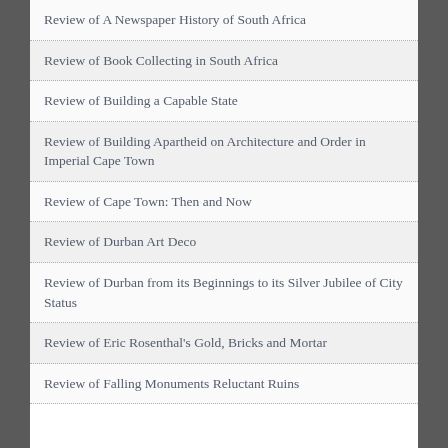Review of A Newspaper History of South Africa
Review of Book Collecting in South Africa
Review of Building a Capable State
Review of Building Apartheid on Architecture and Order in Imperial Cape Town
Review of Cape Town: Then and Now
Review of Durban Art Deco
Review of Durban from its Beginnings to its Silver Jubilee of City Status
Review of Eric Rosenthal's Gold, Bricks and Mortar
Review of Falling Monuments Reluctant Ruins